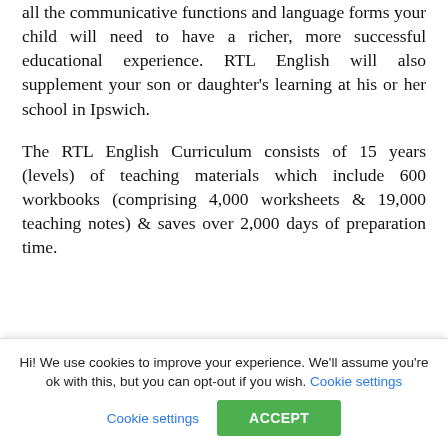all the communicative functions and language forms your child will need to have a richer, more successful educational experience. RTL English will also supplement your son or daughter's learning at his or her school in Ipswich.
The RTL English Curriculum consists of 15 years (levels) of teaching materials which include 600 workbooks (comprising 4,000 worksheets & 19,000 teaching notes) & saves over 2,000 days of preparation time.
Hi! We use cookies to improve your experience. We'll assume you're ok with this, but you can opt-out if you wish. Cookie settings ACCEPT